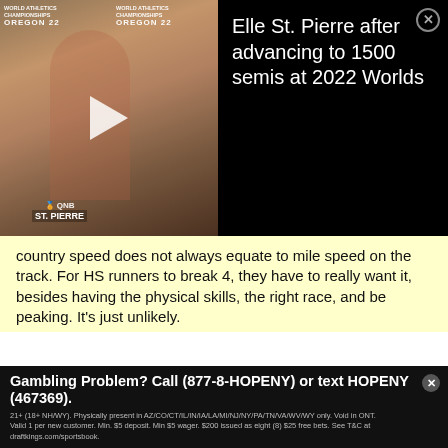[Figure (screenshot): Video thumbnail of Elle St. Pierre at World Athletics Championships Oregon 22, with play button overlay]
Elle St. Pierre after advancing to 1500 semis at 2022 Worlds
country speed does not always equate to mile speed on the track. For HS runners to break 4, they have to really want it, besides having the physical skills, the right race, and be peaking. It's just unlikely.
↑ 0 ↓ 0   Report Post
You Know Me  #48
7 years ago 12/14/2014 9:08am EST re: rojo
↩ Reply  🏠 Back To Index
rojo wrote:
Gambling Problem? Call (877-8-HOPENY) or text HOPENY (467369). 21+ (18+ NH/WY). Physically present in AZ/CO/CT/IL/IN/IA/LA/MI/NJ/NY/PA/TN/VA/WV/WY only. Void in ONT. Valid 1 per new customer. Min. $5 deposit. Min $5 wager. $200 issued as eight (8) $25 free bets. See T&C at draftkings.com/sportsbook.